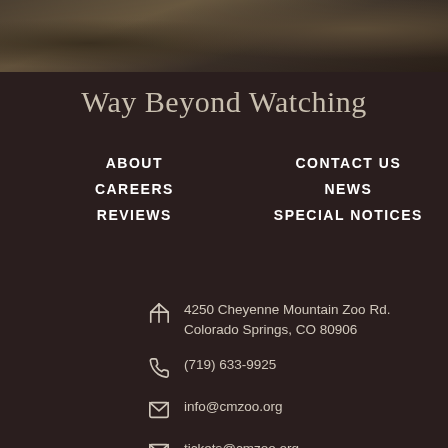[Figure (photo): Dark nature/forest photo at top of page, partial view showing trees and ground]
Way Beyond Watching
ABOUT
CONTACT US
CAREERS
NEWS
REVIEWS
SPECIAL NOTICES
4250 Cheyenne Mountain Zoo Rd.
Colorado Springs, CO 80906
(719) 633-9925
info@cmzoo.org
tickets@cmzoo.org